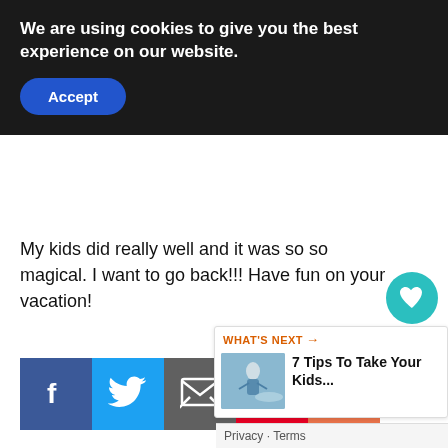We are using cookies to give you the best experience on our website.
Accept
My kids did really well and it was so so magical. I want to go back!!! Have fun on your vacation!
[Figure (infographic): Social share buttons row: Facebook (blue), Twitter (light blue), Email (gray), Pinterest (red), More/Plus (orange)]
[Figure (infographic): Floating right sidebar with heart/like button (teal circle), count of 1, and share button]
[Figure (infographic): What's Next panel with thumbnail image and text '7 Tips To Take Your Kids...']
Privacy · Terms